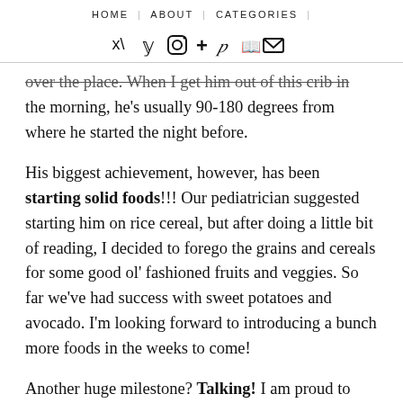HOME | ABOUT | CATEGORIES |
over the place. When I get him out of this crib in the morning, he's usually 90-180 degrees from where he started the night before.
His biggest achievement, however, has been starting solid foods!!! Our pediatrician suggested starting him on rice cereal, but after doing a little bit of reading, I decided to forego the grains and cereals for some good ol' fashioned fruits and veggies. So far we've had success with sweet potatoes and avocado. I'm looking forward to introducing a bunch more foods in the weeks to come!
Another huge milestone? Talking! I am proud to